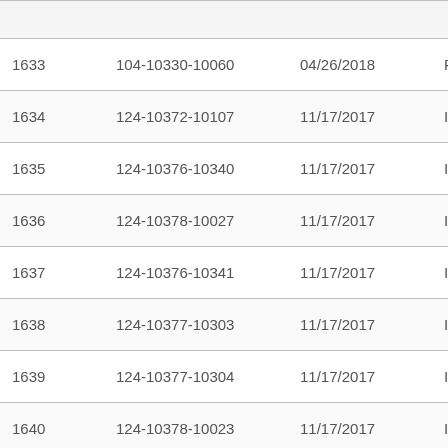| 1633 | 104-10330-10060 | 04/26/2018 | Reda |
| 1634 | 124-10372-10107 | 11/17/2017 | In Pa |
| 1635 | 124-10376-10340 | 11/17/2017 | In Pa |
| 1636 | 124-10378-10027 | 11/17/2017 | In Pa |
| 1637 | 124-10376-10341 | 11/17/2017 | In Pa |
| 1638 | 124-10377-10303 | 11/17/2017 | In Pa |
| 1639 | 124-10377-10304 | 11/17/2017 | In Pa |
| 1640 | 124-10378-10023 | 11/17/2017 | In Pa |